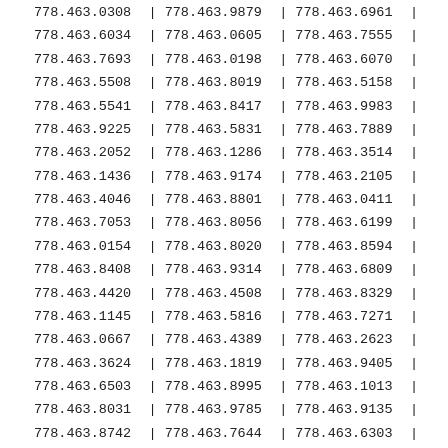| 778.463.0308 | | | 778.463.9879 | | | 778.463.6961 | | |
| 778.463.6034 | | | 778.463.0605 | | | 778.463.7555 | | |
| 778.463.7693 | | | 778.463.0198 | | | 778.463.6070 | | |
| 778.463.5508 | | | 778.463.8019 | | | 778.463.5158 | | |
| 778.463.5541 | | | 778.463.8417 | | | 778.463.9983 | | |
| 778.463.9225 | | | 778.463.5831 | | | 778.463.7889 | | |
| 778.463.2052 | | | 778.463.1286 | | | 778.463.3514 | | |
| 778.463.1436 | | | 778.463.9174 | | | 778.463.2105 | | |
| 778.463.4046 | | | 778.463.8801 | | | 778.463.0411 | | |
| 778.463.7053 | | | 778.463.8056 | | | 778.463.6199 | | |
| 778.463.0154 | | | 778.463.8020 | | | 778.463.8594 | | |
| 778.463.8408 | | | 778.463.9314 | | | 778.463.6809 | | |
| 778.463.4420 | | | 778.463.4508 | | | 778.463.8329 | | |
| 778.463.1145 | | | 778.463.5816 | | | 778.463.7271 | | |
| 778.463.0667 | | | 778.463.4389 | | | 778.463.2623 | | |
| 778.463.3624 | | | 778.463.1819 | | | 778.463.9405 | | |
| 778.463.6503 | | | 778.463.8995 | | | 778.463.1013 | | |
| 778.463.8031 | | | 778.463.9785 | | | 778.463.9135 | | |
| 778.463.8742 | | | 778.463.7644 | | | 778.463.6303 | | |